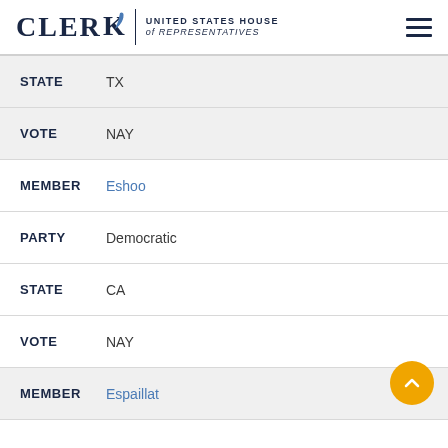CLERK | UNITED STATES HOUSE of REPRESENTATIVES
STATE TX
VOTE NAY
MEMBER Eshoo
PARTY Democratic
STATE CA
VOTE NAY
MEMBER Espaillat